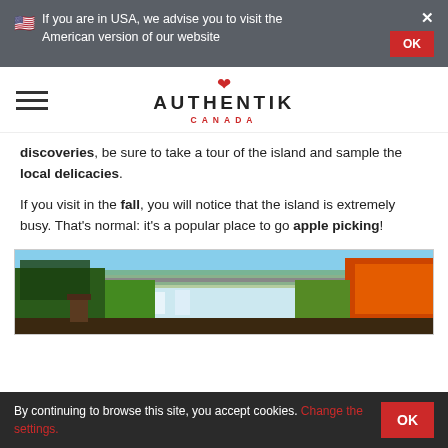🇺🇸 If you are in USA, we advise you to visit the American version of our website
[Figure (logo): Authentik Canada logo with red maple leaf above the text AUTHENTIK CANADA]
discoveries, be sure to take a tour of the island and sample the local delicacies.
If you visit in the fall, you will notice that the island is extremely busy. That's normal: it's a popular place to go apple picking!
[Figure (photo): Autumn landscape photo showing a bridge over a river gorge surrounded by fall foliage with colourful trees]
By continuing to browse this site, you accept cookies. Change the settings.